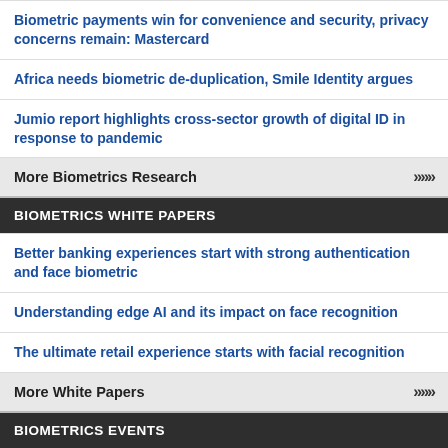Biometric payments win for convenience and security, privacy concerns remain: Mastercard
Africa needs biometric de-duplication, Smile Identity argues
Jumio report highlights cross-sector growth of digital ID in response to pandemic
More Biometrics Research >>>
BIOMETRICS WHITE PAPERS
Better banking experiences start with strong authentication and face biometric
Understanding edge AI and its impact on face recognition
The ultimate retail experience starts with facial recognition
More White Papers >>>
BIOMETRICS EVENTS
SPIE Remote Sensing